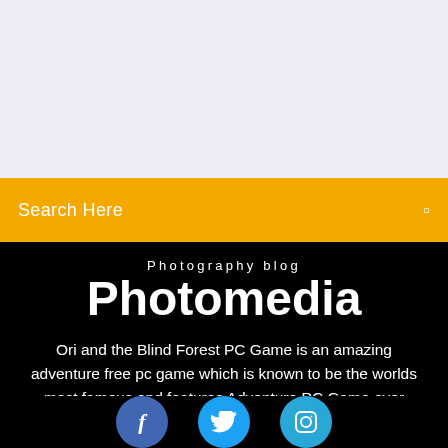[Figure (other): Light purple/grey placeholder image area at the top of the page]
Search Here
Photography blog
Photomedia
Ori and the Blind Forest PC Game is an amazing adventure free pc game which is known to be the worlds most famous and features Adventure PC Game ever Created.
[Figure (illustration): Row of three social media icons: Facebook (blue), Twitter (light blue), Instagram (light blue)]